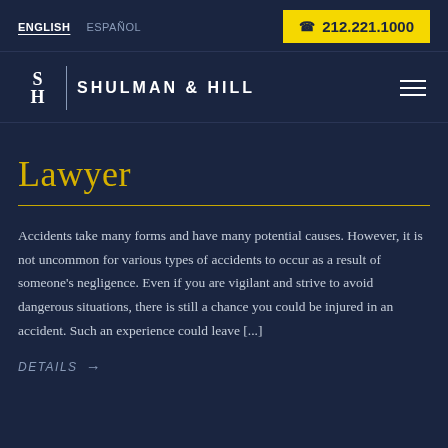ENGLISH  ESPAÑOL  212.221.1000
[Figure (logo): Shulman & Hill law firm logo with SH monogram and firm name]
Lawyer
Accidents take many forms and have many potential causes. However, it is not uncommon for various types of accidents to occur as a result of someone's negligence. Even if you are vigilant and strive to avoid dangerous situations, there is still a chance you could be injured in an accident. Such an experience could leave [...]
DETAILS →